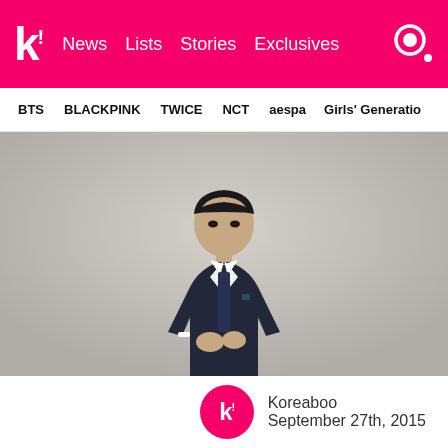k! News Lists Stories Exclusives
BTS BLACKPINK TWICE NCT aespa Girls' Generation
[Figure (photo): Young East Asian male wearing a dark navy suit with white shirt and dark tie, standing against a light grey background, adjusting his cufflinks. Short black hair with straight fringe. Professional portrait style.]
Koreaboo
September 27th, 2015